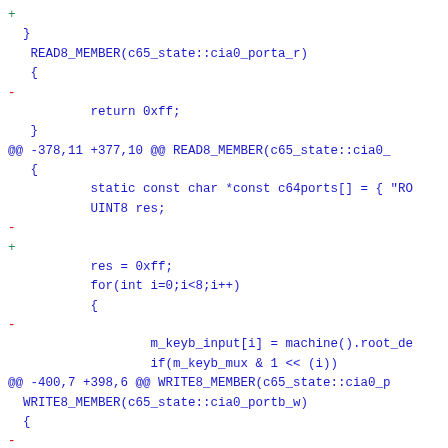Code diff showing C65 state CIA port read/write member functions with diff markers (+/-) and @@ hunk headers